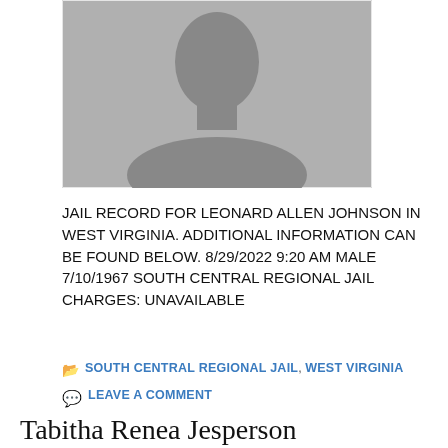[Figure (illustration): Silhouette placeholder photo of a person, gray background, no actual photo available]
JAIL RECORD FOR LEONARD ALLEN JOHNSON IN WEST VIRGINIA. ADDITIONAL INFORMATION CAN BE FOUND BELOW. 8/29/2022 9:20 AM MALE 7/10/1967 SOUTH CENTRAL REGIONAL JAIL CHARGES: UNAVAILABLE
SOUTH CENTRAL REGIONAL JAIL, WEST VIRGINIA
LEAVE A COMMENT
Tabitha Renea Jesperson